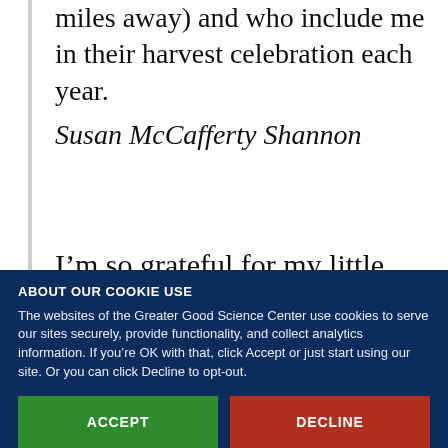miles away) and who include me in their harvest celebration each year.
Susan McCafferty Shannon
I’m so grateful for my little sister. Strong, poised, patient. Now I’m
ABOUT OUR COOKIE USE
The websites of the Greater Good Science Center use cookies to serve our sites securely, provide functionality, and collect analytics information. If you’re OK with that, click Accept or just start using our site. Or you can click Decline to opt-out.
ACCEPT
DECLINE